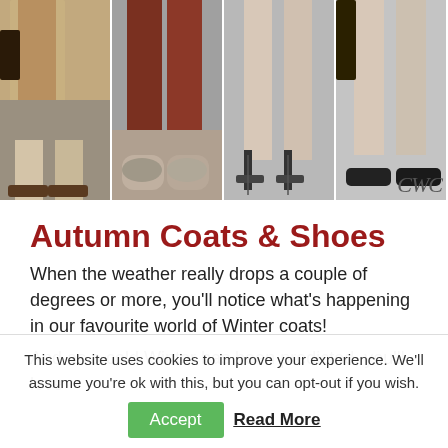[Figure (photo): Fashion photo strip showing four panels of women's legs and shoes: panel 1 beige coat with flat shoes, panel 2 dark reddish-brown trousers with sneakers, panel 3 bare legs with strappy heeled sandals, panel 4 bare legs with black loafers. CWC logo/signature bottom right.]
Autumn Coats & Shoes
When the weather really drops a couple of degrees or more, you'll notice what's happening in our favourite world of Winter coats!
And as a cold Winter has been predicted, you'll love
This website uses cookies to improve your experience. We'll assume you're ok with this, but you can opt-out if you wish.
Accept   Read More